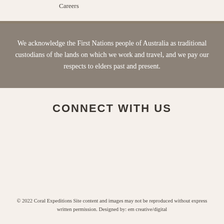Careers
We acknowledge the First Nations people of Australia as traditional custodians of the lands on which we work and travel, and we pay our respects to elders past and present.
CONNECT WITH US
© 2022 Coral Expeditions Site content and images may not be reproduced without express written permission. Designed by: em creative/digital